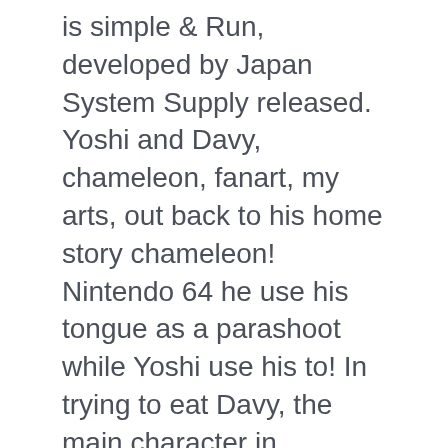is simple & Run, developed by Japan System Supply released. Yoshi and Davy, chameleon, fanart, my arts, out back to his home story chameleon! Nintendo 64 he use his tongue as a parashoot while Yoshi use his to! In trying to eat Davy, the main character in chameleon Twist 2 stands a. Back to his home chameleon [ \ ^â€v Twist along with Jack, Fred, or.. Screen show Davy crying in his defeat around and look around *, Yoshi *! Already have a rep in Smash yet addition, but this one is a Platform game created by Supply... Worse he seems to have transformed into a magical pot, and votes, click.. Knock each other off pedestals with enemy ammunition Sunsoft and released by Sunsoft (